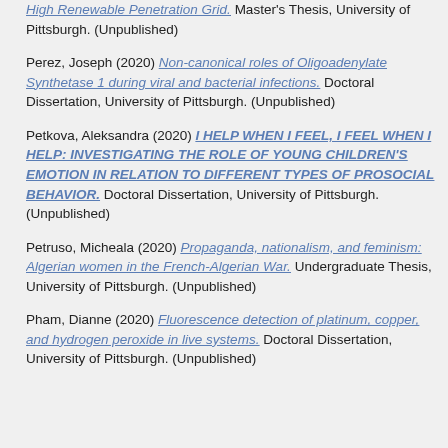High Renewable Penetration Grid. Master's Thesis, University of Pittsburgh. (Unpublished)
Perez, Joseph (2020) Non-canonical roles of Oligoadenylate Synthetase 1 during viral and bacterial infections. Doctoral Dissertation, University of Pittsburgh. (Unpublished)
Petkova, Aleksandra (2020) I HELP WHEN I FEEL, I FEEL WHEN I HELP: INVESTIGATING THE ROLE OF YOUNG CHILDREN'S EMOTION IN RELATION TO DIFFERENT TYPES OF PROSOCIAL BEHAVIOR. Doctoral Dissertation, University of Pittsburgh. (Unpublished)
Petruso, Micheala (2020) Propaganda, nationalism, and feminism: Algerian women in the French-Algerian War. Undergraduate Thesis, University of Pittsburgh. (Unpublished)
Pham, Dianne (2020) Fluorescence detection of platinum, copper, and hydrogen peroxide in live systems. Doctoral Dissertation, University of Pittsburgh. (Unpublished)